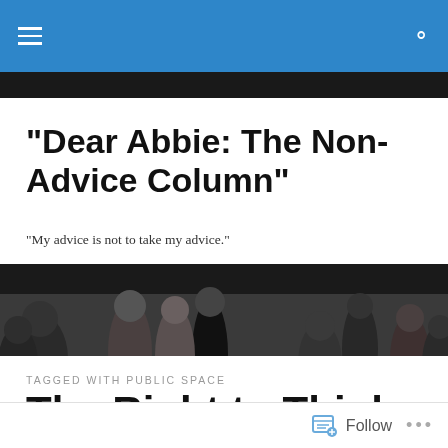Navigation bar with hamburger menu and search icon
"Dear Abbie: The Non-Advice Column"
"My advice is not to take my advice."
[Figure (photo): Black and white photograph of people in a crowd on a city street or public space]
TAGGED WITH PUBLIC SPACE
The Right to Think
Follow   ...